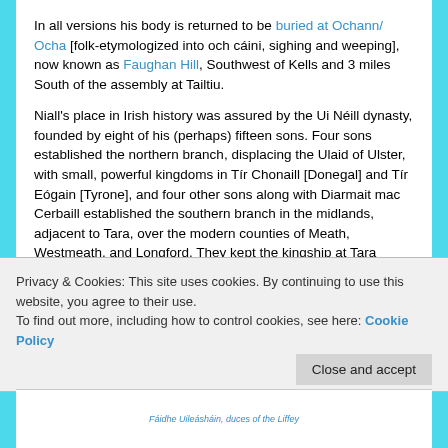In all versions his body is returned to be buried at Ochann/ Ocha [folk-etymologized into och cáini, sighing and weeping], now known as Faughan Hill, Southwest of Kells and 3 miles South of the assembly at Tailtiu.
Niall's place in Irish history was assured by the Ui Néill dynasty, founded by eight of his (perhaps) fifteen sons. Four sons established the northern branch, displacing the Ulaid of Ulster, with small, powerful kingdoms in Tír Chonaill [Donegal] and Tír Eógain [Tyrone], and four other sons along with Diarmait mac Cerbaill established the southern branch in the midlands, adjacent to Tara, over the modern counties of Meath, Westmeath, and Longford. They kept the kingship at Tara between them, deeply influencing the position of history as well as the...
Privacy & Cookies: This site uses cookies. By continuing to use this website, you agree to their use.
To find out more, including how to control cookies, see here: Cookie Policy
Close and accept